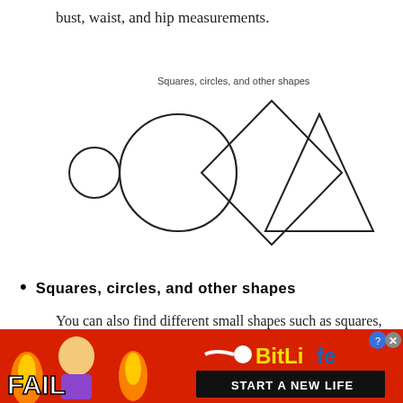bust, waist, and hip measurements.
[Figure (illustration): Four geometric shapes in a row: a small circle, a large circle, a rotated square (diamond), and a triangle. Labeled above: 'Squares, circles, and other shapes']
Squares, circles, and other shapes
You can also find different small shapes such as squares, circles, etc., scattered on your sewing pattern pieces. They are usually located
[Figure (infographic): BitLife advertisement banner with red background, 'FAIL' text, cartoon character, flames, BitLife logo and 'START A NEW LIFE' text]